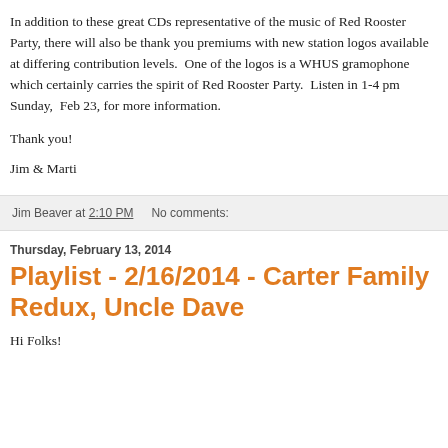In addition to these great CDs representative of the music of Red Rooster Party, there will also be thank you premiums with new station logos available at differing contribution levels.  One of the logos is a WHUS gramophone which certainly carries the spirit of Red Rooster Party.  Listen in 1-4 pm Sunday,  Feb 23, for more information.
Thank you!
Jim & Marti
Jim Beaver at 2:10 PM    No comments:
Thursday, February 13, 2014
Playlist - 2/16/2014 - Carter Family Redux, Uncle Dave
Hi Folks!